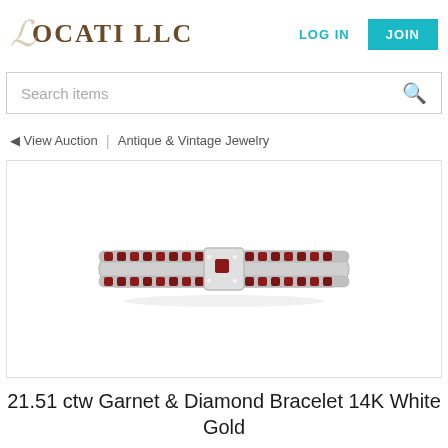LOCATI LLC | LOG IN | JOIN
Search items
◄ View Auction | Antique & Vintage Jewelry
[Figure (photo): A garnet and diamond bracelet in 14K white gold, shown against a white background. The bracelet features a wide band with multiple rows of dark red garnets set in silver/white gold links, with a decorated clasp in the center.]
21.51 ctw Garnet & Diamond Bracelet 14K White Gold